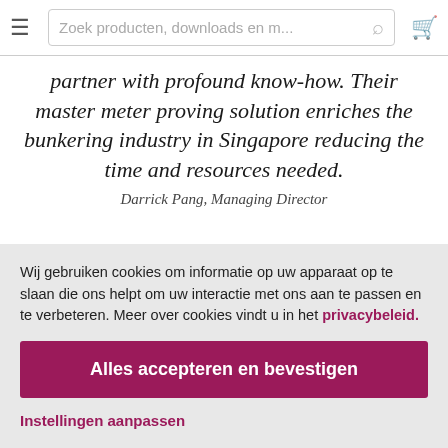Zoek producten, downloads en m...
partner with profound know-how. Their master meter proving solution enriches the bunkering industry in Singapore reducing the time and resources needed.
Darrick Pang, Managing Director
Wij gebruiken cookies om informatie op uw apparaat op te slaan die ons helpt om uw interactie met ons aan te passen en te verbeteren. Meer over cookies vindt u in het privacybeleid.
Alles accepteren en bevestigen
Instellingen aanpassen